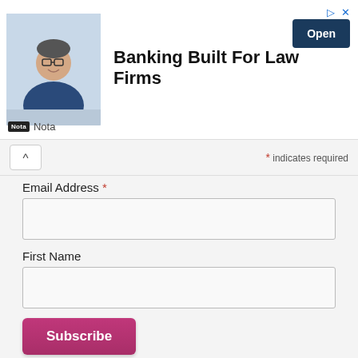[Figure (infographic): Advertisement banner for Nota: Banking Built For Law Firms, featuring a photo of a smiling man in glasses and a dark shirt, with a dark blue 'Open' button, and Nota logo at the bottom left.]
* indicates required
Email Address *
First Name
Subscribe
← New Pattern: Kosice Top & Dress
Visby by Pam—Make It Wear It →